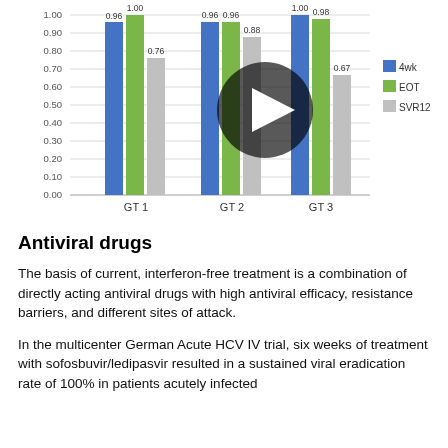[Figure (grouped-bar-chart): ]
Antiviral drugs
The basis of current, interferon-free treatment is a combination of directly acting antiviral drugs with high antiviral efficacy, resistance barriers, and different sites of attack.
In the multicenter German Acute HCV IV trial, six weeks of treatment with sofosbuvir/ledipasvir resulted in a sustained viral eradication rate of 100% in patients acutely infected